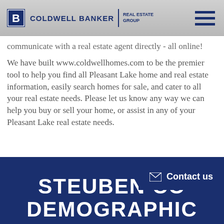[Figure (logo): Coldwell Banker Real Estate Group logo with hamburger menu icon]
communicate with a real estate agent directly - all online!
We have built www.coldwellhomes.com to be the premier tool to help you find all Pleasant Lake home and real estate information, easily search homes for sale, and cater to all your real estate needs. Please let us know any way we can help you buy or sell your home, or assist in any of your Pleasant Lake real estate needs.
STEUBEN CO DEMOGRAPHIC